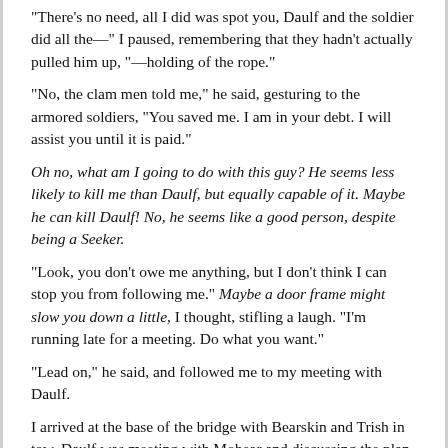"There's no need, all I did was spot you, Daulf and the soldier did all the—" I paused, remembering that they hadn't actually pulled him up, "—holding of the rope."
"No, the clam men told me," he said, gesturing to the armored soldiers, "You saved me. I am in your debt. I will assist you until it is paid."
Oh no, what am I going to do with this guy? He seems less likely to kill me than Daulf, but equally capable of it. Maybe he can kill Daulf! No, he seems like a good person, despite being a Seeker.
"Look, you don't owe me anything, but I don't think I can stop you from following me." Maybe a door frame might slow you down a little, I thought, stifling a laugh. "I'm running late for a meeting. Do what you want."
"Lead on," he said, and followed me to my meeting with Daulf.
I arrived at the base of the bridge with Bearskin and Trish in tow. Daulf was meeting with Mobear and discussing the plan when I arrived.